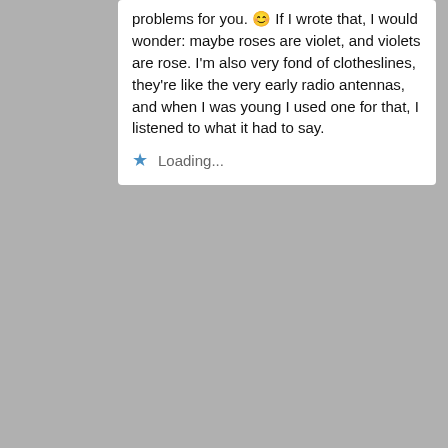problems for you. 😊 If I wrote that, I would wonder: maybe roses are violet, and violets are rose. I'm also very fond of clotheslines, they're like the very early radio antennas, and when I was young I used one for that, I listened to what it had to say.
Loading...
[Figure (photo): Small avatar image of a person with dark hair and artistic style]
ilovecloudstoo says: April 9, 2018 at 2:06 am
That is so funny! Artistic minds!! My heavens would the world be without us.
Radio antennas!!! how brilliant is that ahahah. I imagine them being like morse code ahah .
Sock sock sock – towel towel towel -sock sock sock.